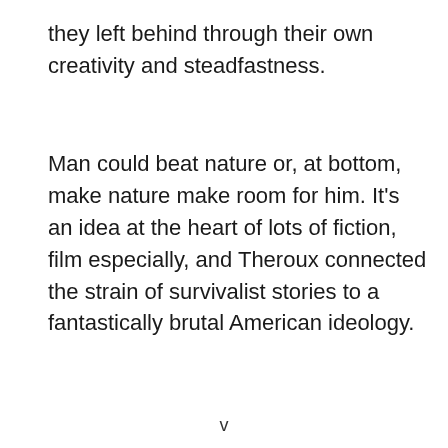they left behind through their own creativity and steadfastness.
Man could beat nature or, at bottom, make nature make room for him. It’s an idea at the heart of lots of fiction, film especially, and Theroux connected the strain of survivalist stories to a fantastically brutal American ideology.
v